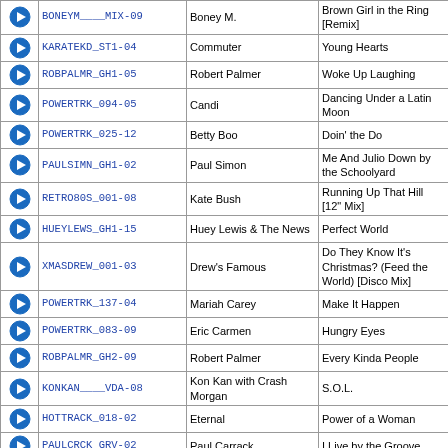|  | Code | Artist | Track |
| --- | --- | --- | --- |
| ▶ | BONEYM____MIX-09 | Boney M. | Brown Girl in the Ring [Remix] |
| ▶ | KARATEKD_ST1-04 | Commuter | Young Hearts |
| ▶ | ROBPALMR_GH1-05 | Robert Palmer | Woke Up Laughing |
| ▶ | POWERTRK_094-05 | Candi | Dancing Under a Latin Moon |
| ▶ | POWERTRK_025-12 | Betty Boo | Doin' the Do |
| ▶ | PAULSIMN_GH1-02 | Paul Simon | Me And Julio Down by the Schoolyard |
| ▶ | RETRO80S_001-08 | Kate Bush | Running Up That Hill [12" Mix] |
| ▶ | HUEYLEWS_GH1-15 | Huey Lewis & The News | Perfect World |
| ▶ | XMASDREW_001-03 | Drew's Famous | Do They Know It's Christmas? (Feed the World) [Disco Mix] |
| ▶ | POWERTRK_137-04 | Mariah Carey | Make It Happen |
| ▶ | POWERTRK_083-09 | Eric Carmen | Hungry Eyes |
| ▶ | ROBPALMR_GH2-09 | Robert Palmer | Every Kinda People |
| ▶ | KONKAN____VDA-08 | Kon Kan with Crash Morgan | S.O.L. |
| ▶ | HOTTRACK_018-02 | Eternal | Power of a Woman |
| ▶ | PAULCRCK_GRV-02 | Paul Carrack | I Live by the Groove |
| ▶ | DVWILCOX_G1B-03 | David Wilcox | Somethin's Shakin' |
| ▶ | DTRANDOM_039-05 | Steve Arrington | Feel So Real |
| ▶ | ESSENTLS_008-08 | Aretha Franklin & George Michael | I Knew You Were Waiting (For Me) |
| ▶ | ESSENTLS_008-17 | Aerosmith & Run-DMC | Walk This Way |
| ▶ | BIGSHINY_001-15 | Poe | Angry Johnny |